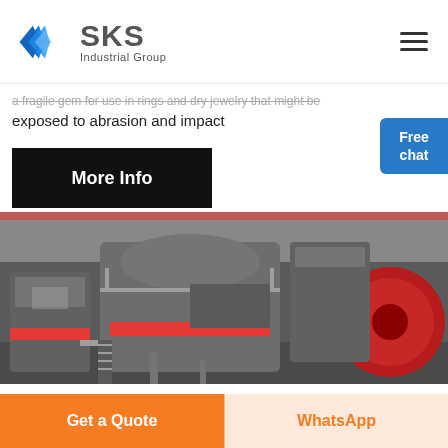[Figure (logo): SKS Industrial Group logo with blue diamond S icon and grey SKS text]
a fragile gem for use in rings and dry jewelry that might be exposed to abrasion and impact
[Figure (photo): Industrial crushing/milling machine in a factory setting, grey and orange colored heavy equipment]
More Info
Free chat
Get a Quote
WhatsApp